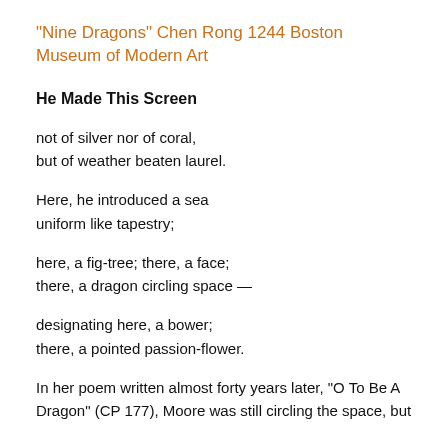“Nine Dragons” Chen Rong 1244 Boston Museum of Modern Art
He Made This Screen
not of silver nor of coral,
but of weather beaten laurel.
Here, he introduced a sea
uniform like tapestry;
here, a fig-tree; there, a face;
there, a dragon circling space —
designating here, a bower;
there, a pointed passion-flower.
In her poem written almost forty years later, “O To Be A Dragon” (CP 177), Moore was still circling the space, but